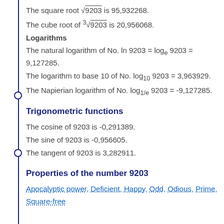The square root √9203 is 95,932268.
The cube root of ³√9203 is 20,956068.
Logarithms
The natural logarithm of No. ln 9203 = loge 9203 = 9,127285.
The logarithm to base 10 of No. log10 9203 = 3,963929.
The Napierian logarithm of No. log1/e 9203 = -9,127285.
Trigonometric functions
The cosine of 9203 is -0,291389.
The sine of 9203 is -0,956605.
The tangent of 9203 is 3,282911.
Properties of the number 9203
Apocalyptic power, Deficient, Happy, Odd, Odious, Prime, Square-free